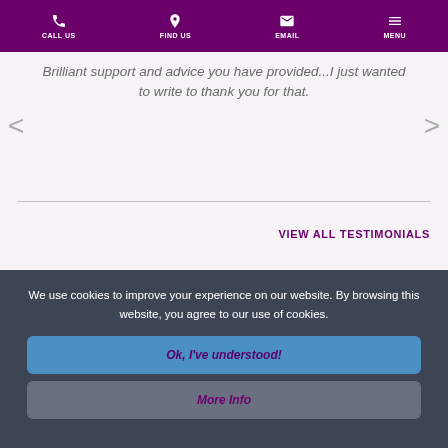CALL US   FIND US   EMAIL   MENU
Brilliant support and advice you have provided...I just wanted to write to thank you for that.
VIEW ALL TESTIMONIALS
We use cookies to improve your experience on our website. By browsing this website, you agree to our use of cookies.
Ok, I've understood!
More Info